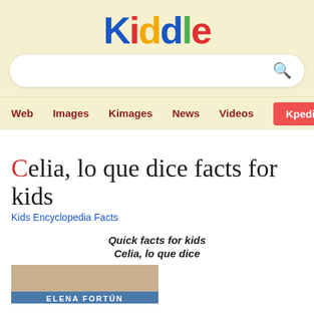[Figure (logo): Kiddle logo with colorful letters: K(blue), i(red), d(yellow), d(blue), l(green), e(red)]
[Figure (screenshot): Search bar with magnifying glass icon on cream/yellow background]
Web  Images  Kimages  News  Videos  Kpedia
Celia, lo que dice facts for kids
Kids Encyclopedia Facts
Quick facts for kids
Celia, lo que dice
[Figure (photo): Partial view of a book cover with text ELENA FORTU... visible at bottom]